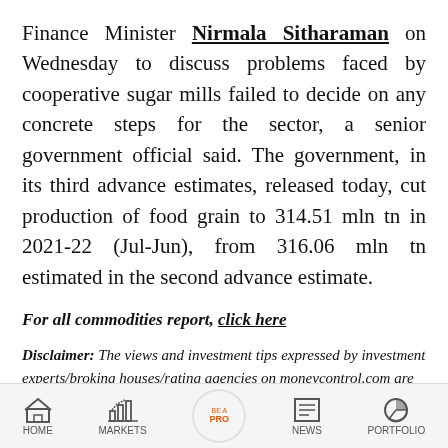Finance Minister Nirmala Sitharaman on Wednesday to discuss problems faced by cooperative sugar mills failed to decide on any concrete steps for the sector, a senior government official said. The government, in its third advance estimates, released today, cut production of food grain to 314.51 mln tn in 2021-22 (Jul-Jun), from 316.06 mln tn estimated in the second advance estimate.
For all commodities report, click here
Disclaimer: The views and investment tips expressed by investment experts/broking houses/rating agencies on moneycontrol.com are their own, and not that of the website or its management.
HOME | MARKETS | BE A PRO | NEWS | PORTFOLIO